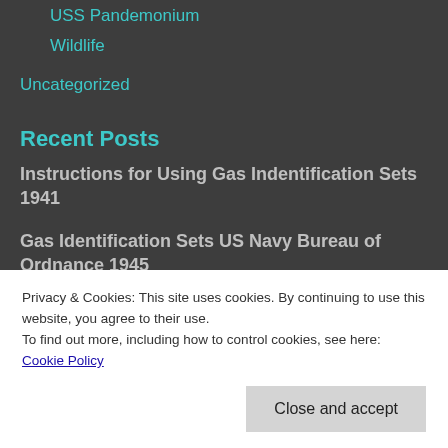USS Pandemonium
Wildlife
Uncategorized
Recent Posts
Instructions for Using Gas Indentification Sets 1941
Gas Identification Sets US Navy Bureau of Ordnance 1945
Privacy & Cookies: This site uses cookies. By continuing to use this website, you agree to their use.
To find out more, including how to control cookies, see here: Cookie Policy
Close and accept
for training at all bases and OPCW Treaty